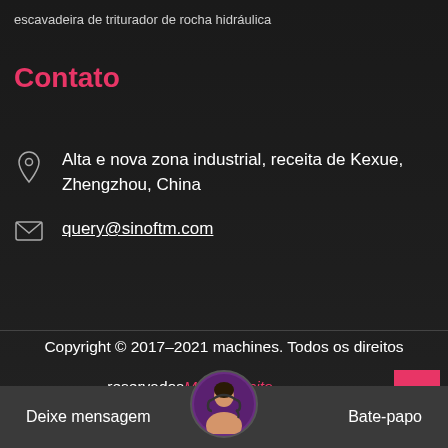escavadeira de triturador de rocha hidráulica
Contato
Alta e nova zona industrial, receita de Kexue, Zhengzhou, China
query@sinoftm.com
Copyright © 2017–2021 machines. Todos os direitos
reservados Mapa do site
Deixe mensagem
Bate-papo